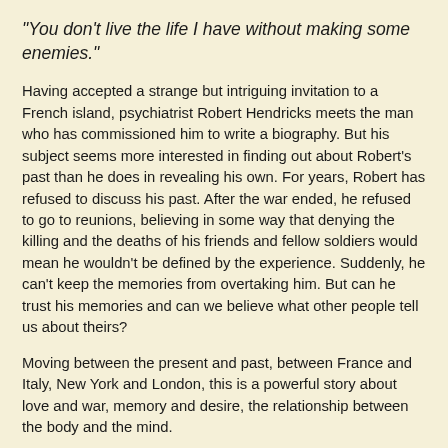"You don't live the life I have without making some enemies."
Having accepted a strange but intriguing invitation to a French island, psychiatrist Robert Hendricks meets the man who has commissioned him to write a biography. But his subject seems more interested in finding out about Robert's past than he does in revealing his own. For years, Robert has refused to discuss his past. After the war ended, he refused to go to reunions, believing in some way that denying the killing and the deaths of his friends and fellow soldiers would mean he wouldn't be defined by the experience. Suddenly, he can't keep the memories from overtaking him. But can he trust his memories and can we believe what other people tell us about theirs?
Moving between the present and past, between France and Italy, New York and London, this is a powerful story about love and war, memory and desire, the relationship between the body and the mind.
Compelling and full of suspense, Where My Heart Used to Rest is a tender, brutal and thoughtful portrait of a man and